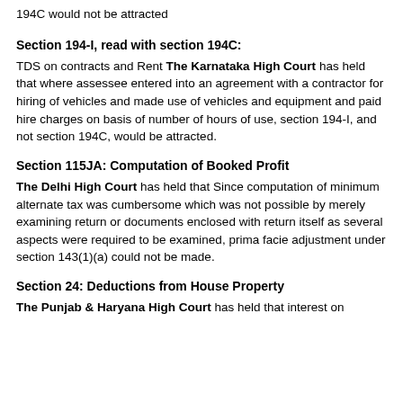194C would not be attracted
Section 194-I, read with section 194C:
TDS on contracts and Rent The Karnataka High Court has held that where assessee entered into an agreement with a contractor for hiring of vehicles and made use of vehicles and equipment and paid hire charges on basis of number of hours of use, section 194-I, and not section 194C, would be attracted.
Section 115JA: Computation of Booked Profit
The Delhi High Court has held that Since computation of minimum alternate tax was cumbersome which was not possible by merely examining return or documents enclosed with return itself as several aspects were required to be examined, prima facie adjustment under section 143(1)(a) could not be made.
Section 24: Deductions from House Property
The Punjab & Haryana High Court has held that interest on